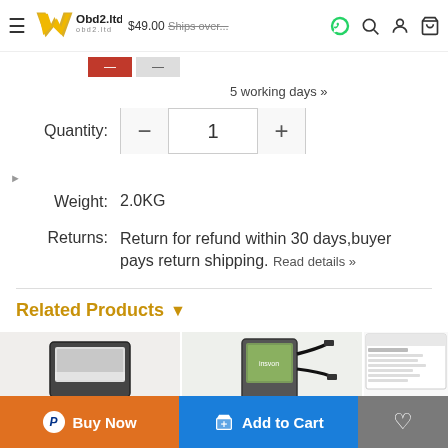Obd2.ltd — navigation header with logo, price, search, account, cart icons
5 working days »
Quantity: 1
Weight: 2.0KG
Returns: Return for refund within 30 days,buyer pays return shipping. Read details »
Related Products
[Figure (photo): OBD2 diagnostic tool kit with cables and adapters]
[Figure (photo): OBD2 diagnostic scanner device with multiple cables and a CD]
[Figure (photo): Volvo Truck diagnostic software screenshot]
Buy Now | Add to Cart | Wishlist